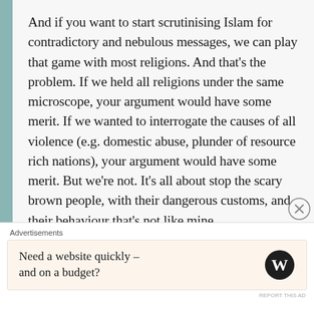And if you want to start scrutinising Islam for contradictory and nebulous messages, we can play that game with most religions. And that's the problem. If we held all religions under the same microscope, your argument would have some merit. If we wanted to interrogate the causes of all violence (e.g. domestic abuse, plunder of resource rich nations), your argument would have some merit. But we're not. It's all about stop the scary brown people, with their dangerous customs, and their behaviour that's not like mine.
Advertisements
Need a website quickly – and on a budget?